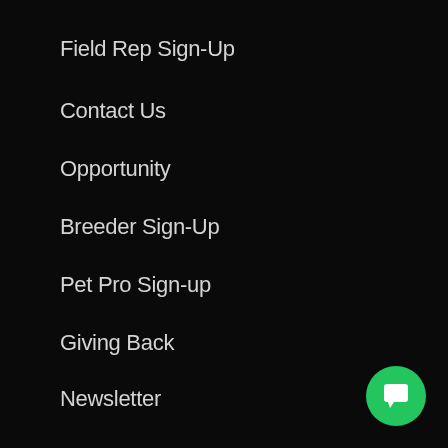Field Rep Sign-Up
Contact Us
Opportunity
Breeder Sign-Up
Pet Pro Sign-up
Giving Back
Newsletter
Careers
PRODUCTS
Products for People
Clean Beauty
Clean Body